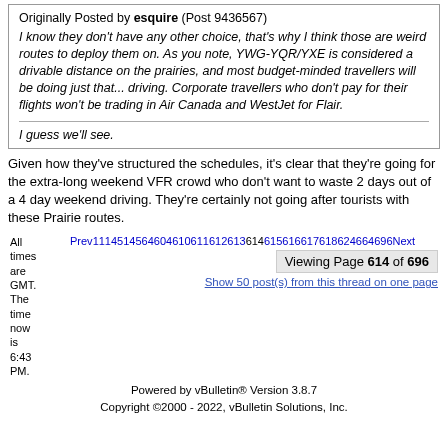Originally Posted by esquire (Post 9436567)
I know they don't have any other choice, that's why I think those are weird routes to deploy them on. As you note, YWG-YQR/YXE is considered a drivable distance on the prairies, and most budget-minded travellers will be doing just that... driving. Corporate travellers who don't pay for their flights won't be trading in Air Canada and WestJet for Flair.

I guess we'll see.
Given how they've structured the schedules, it's clear that they're going for the extra-long weekend VFR crowd who don't want to waste 2 days out of a 4 day weekend driving. They're certainly not going after tourists with these Prairie routes.
All times are GMT. The time now is 6:43 PM.
Prev 111 451 456 460 461 061 161 261 3 614 615 616 617 618 624 664 696 Next
Viewing Page 614 of 696
Show 50 post(s) from this thread on one page
Powered by vBulletin® Version 3.8.7
Copyright ©2000 - 2022, vBulletin Solutions, Inc.